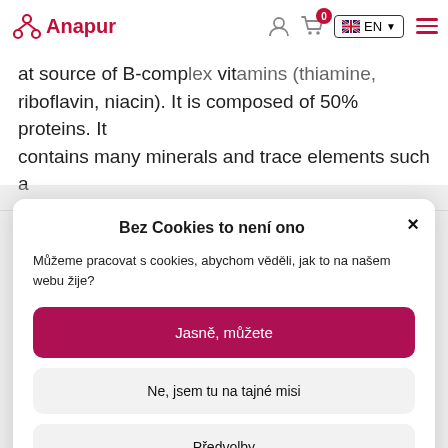Anapur — navigation bar with logo, cart, language selector (EN), hamburger menu
at source of B-complex vitamins (thiamine, riboflavin, niacin). It is composed of 50% proteins. It contains many minerals and trace elements such a chrome which helps to maintain steady sugar levels. This yeast is dried and processed to keep its
Bez Cookies to není ono
Můžeme pracovat s cookies, abychom věděli, jak to na našem webu žije?
Jasně, můžete
Ne, jsem tu na tajné misi
Předvolby
Zásady cookies   Privacy policy